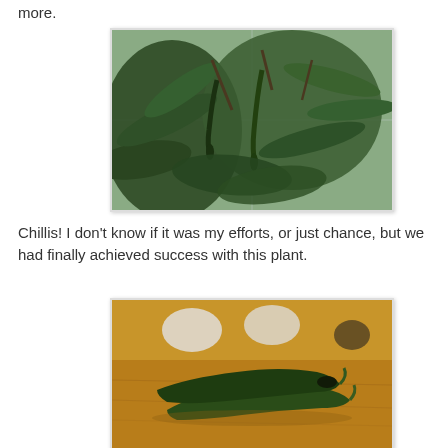more.
[Figure (photo): Close-up photo of a chilli pepper plant with dark green leaves and hanging green chilli peppers against a white tiled wall background.]
Chillis! I don't know if it was my efforts, or just chance, but we had finally achieved success with this plant.
[Figure (photo): Photo of two harvested green chilli peppers lying on a wooden surface, with blurred white objects in the background.]